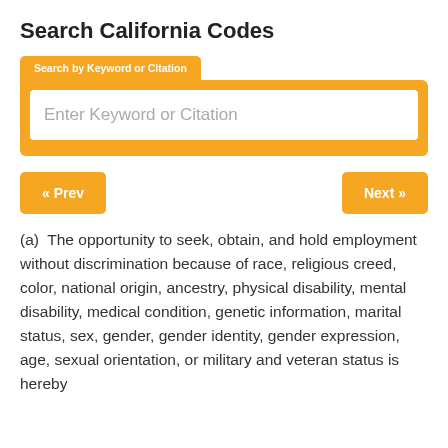Search California Codes
[Figure (screenshot): Search by Keyword or Citation input box with orange background and white text field showing placeholder 'Enter Keyword or Citation']
« Prev    Next »
(a)  The opportunity to seek, obtain, and hold employment without discrimination because of race, religious creed, color, national origin, ancestry, physical disability, mental disability, medical condition, genetic information, marital status, sex, gender, gender identity, gender expression, age, sexual orientation, or military and veteran status is hereby